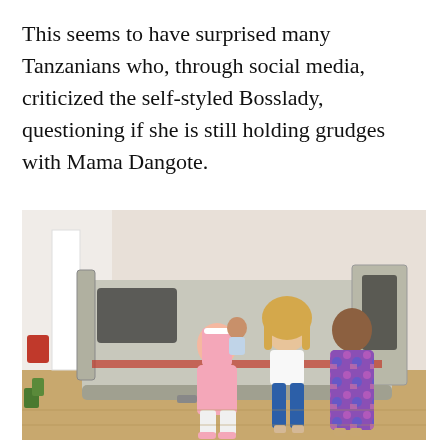This seems to have surprised many Tanzanians who, through social media, criticized the self-styled Bosslady, questioning if she is still holding grudges with Mama Dangote.
[Figure (photo): A group of people posing in front of a silver SUV with its back door open. A man in a pink outfit is sitting on the rear bumper holding a small child. A woman with long blonde hair wearing jeans and a white top stands in the center, and another woman in a colorful purple and pink dress stands to the right. The setting appears to be a paved area near a building.]